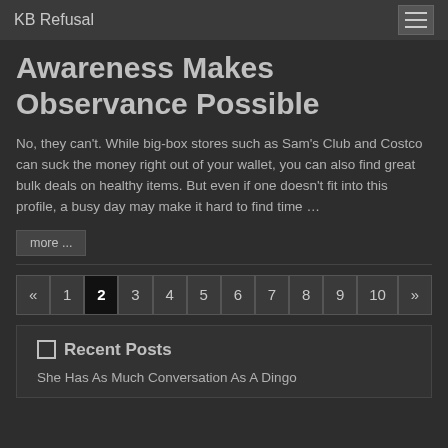KB Refusal
Awareness Makes Observance Possible
No, they can't. While big-box stores such as Sam's Club and Costco can suck the money right out of your wallet, you can also find great bulk deals on healthy items. But even if one doesn't fit into this profile, a busy day may make it hard to find time …
more ...
« 1 2 3 4 5 6 7 8 9 10 »
Recent Posts
She Has As Much Conversation As A Dingo